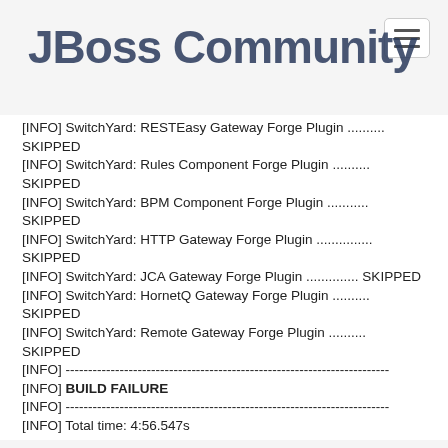[Figure (logo): JBoss Community logo with hamburger menu button in top right corner]
[INFO] SwitchYard: RESTEasy Gateway Forge Plugin .......... SKIPPED
[INFO] SwitchYard: Rules Component Forge Plugin .......... SKIPPED
[INFO] SwitchYard: BPM Component Forge Plugin ........... SKIPPED
[INFO] SwitchYard: HTTP Gateway Forge Plugin ............. SKIPPED
[INFO] SwitchYard: JCA Gateway Forge Plugin .............. SKIPPED
[INFO] SwitchYard: HornetQ Gateway Forge Plugin .......... SKIPPED
[INFO] SwitchYard: Remote Gateway Forge Plugin ........... SKIPPED
[INFO] ------------------------------------------------------------------------
[INFO] BUILD FAILURE
[INFO] ------------------------------------------------------------------------
[INFO] Total time: 4:56.547s